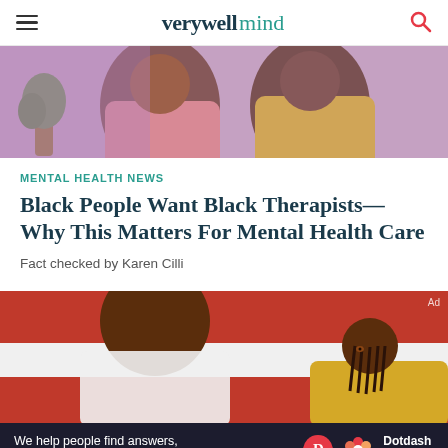verywell mind
[Figure (illustration): Illustration of two Black women in a therapy or conversation setting, one in pink and one in yellow, with plants in background]
MENTAL HEALTH NEWS
Black People Want Black Therapists—Why This Matters For Mental Health Care
Fact checked by Karen Cilli
[Figure (illustration): Illustration of two Black women in a therapy session, one seen from behind and one facing, with red/orange background]
We help people find answers, solve problems and get inspired. Dotdash meredith